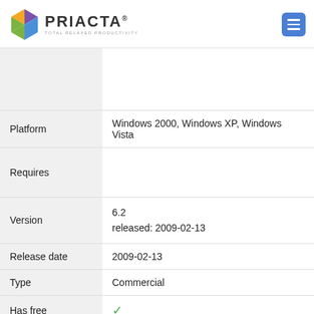[Figure (logo): Priacta logo with colorful diamond icon and text PRIACTA TOTAL RELAXED PRODUCTIVITY]
|  |  |
| Platform | Windows 2000, Windows XP, Windows Vista |
| Requires |  |
| Version | 6.2
released: 2009-02-13 |
| Release date | 2009-02-13 |
| Type | Commercial |
| Has free | ✓ |